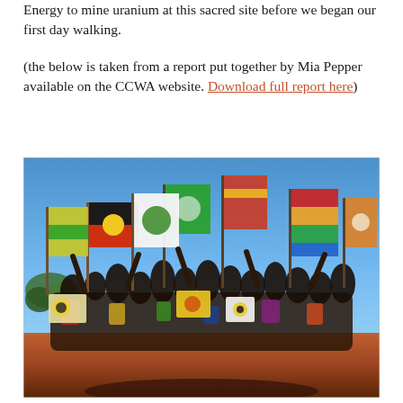Energy to mine uranium at this sacred site before we began our first day walking.
(the below is taken from a report put together by Mia Pepper available on the CCWA website. Download full report here)
[Figure (photo): Group photo of approximately 20-25 people standing on red dirt ground under a clear blue sky, holding various colourful flags including Aboriginal flags, anti-nuclear signs, and other activist banners.]